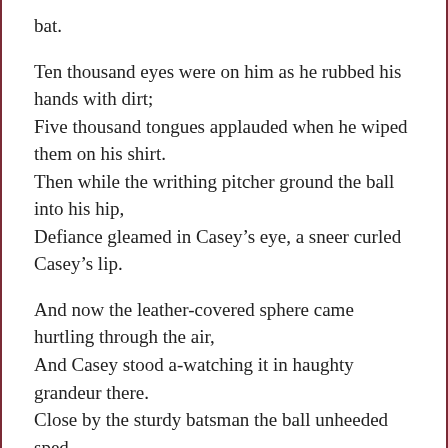bat.
Ten thousand eyes were on him as he rubbed his hands with dirt;
Five thousand tongues applauded when he wiped them on his shirt.
Then while the writhing pitcher ground the ball into his hip,
Defiance gleamed in Casey’s eye, a sneer curled Casey’s lip.
And now the leather-covered sphere came hurtling through the air,
And Casey stood a-watching it in haughty grandeur there.
Close by the sturdy batsman the ball unheeded sped —
“That ain’t my style,” said Casey. “Strike one,” the umpire said.
From the benches, black with people, there went up a muffled roar,